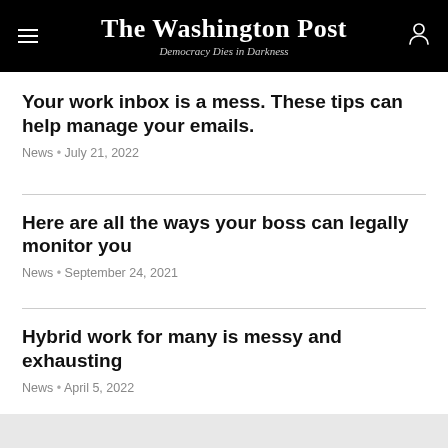The Washington Post — Democracy Dies in Darkness
Your work inbox is a mess. These tips can help manage your emails.
News • July 21, 2022
Here are all the ways your boss can legally monitor you
News • September 24, 2021
Hybrid work for many is messy and exhausting
News • April 5, 2022